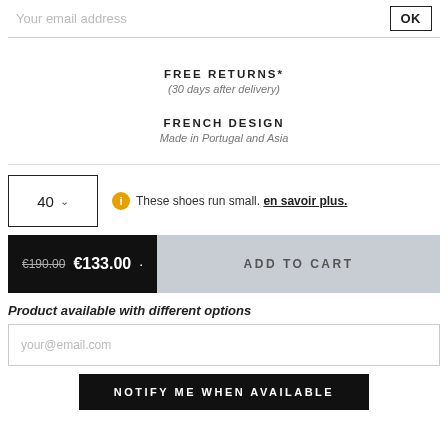Your email address
OK
FREE RETURNS*
(30 days after delivery)
FRENCH DESIGN
Made in Portugal and Asia
40
These shoes run small. en savoir plus.
€190.00  €133.00
ADD TO CART
Product available with different options
your@email.com
NOTIFY ME WHEN AVAILABLE